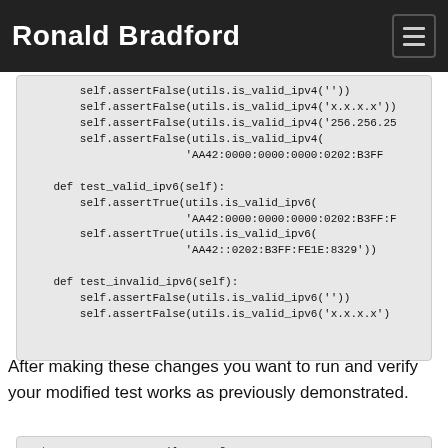Ronald Bradford
[Figure (screenshot): Code block showing Python unit test methods: assertFalse calls for is_valid_ipv4, def test_valid_ipv6(self), assertTrue calls for is_valid_ipv6 with IPv6 addresses, def test_invalid_ipv6(self), and assertFalse call for is_valid_ipv6('')]
After making these changes you want to run and verify your modified test works as previously demonstrated.
[Figure (screenshot): Terminal code block showing: $ testr run test_utils -- -f running=OS_STDOUT_CAPTURE=${OS_STDOUT_CAPTURE:-1} \ OS_STDERR_CAPTURE=${OS_STDERR_CAPTURE:-1} \ OS_TEST_TIMEOUT=${OS_TEST_TIMEOUT:-160} \ ${PYTHON:-python} -m subunit.run discover -t ./ ${OS_TES running=OS_STDOUT_CAPTURE=${OS_STDOUT_CAPTURE:-1} \ OS_STDERR_CAPTURE=${OS_STDERR_CAPTURE:-1} \ OS_TEST_TIMEOUT=${OS_TEST_TIMEOUT:-160}]